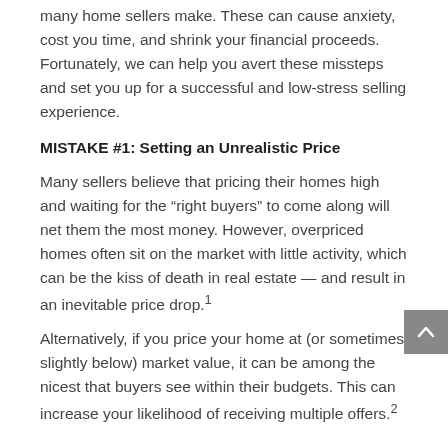For example, here are seven common mistakes that many home sellers make. These can cause anxiety, cost you time, and shrink your financial proceeds. Fortunately, we can help you avert these missteps and set you up for a successful and low-stress selling experience.
MISTAKE #1: Setting an Unrealistic Price
Many sellers believe that pricing their homes high and waiting for the “right buyers” to come along will net them the most money. However, overpriced homes often sit on the market with little activity, which can be the kiss of death in real estate — and result in an inevitable price drop.1
Alternatively, if you price your home at (or sometimes slightly below) market value, it can be among the nicest that buyers see within their budgets. This can increase your likelihood of receiving multiple offers.2